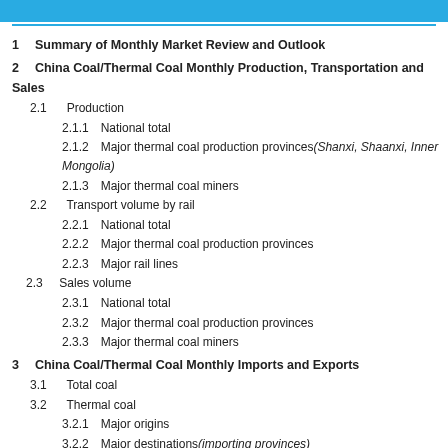1  Summary of Monthly Market Review and Outlook
2  China Coal/Thermal Coal Monthly Production, Transportation and Sales
2.1  Production
2.1.1  National total
2.1.2  Major thermal coal production provinces(Shanxi, Shaanxi, Inner Mongolia)
2.1.3  Major thermal coal miners
2.2  Transport volume by rail
2.2.1  National total
2.2.2  Major thermal coal production provinces
2.2.3  Major rail lines
2.3  Sales volume
2.3.1  National total
2.3.2  Major thermal coal production provinces
2.3.3  Major thermal coal miners
3  China Coal/Thermal Coal Monthly Imports and Exports
3.1  Total coal
3.2  Thermal coal
3.2.1  Major origins
3.2.2  Major destinations(importing provinces)
4  China Thermal Coal Monthly Supply and Demand
4.1  Output of thermal coal-based products(power, cement, pig iron, heat, methanol, synthetic ammonia)